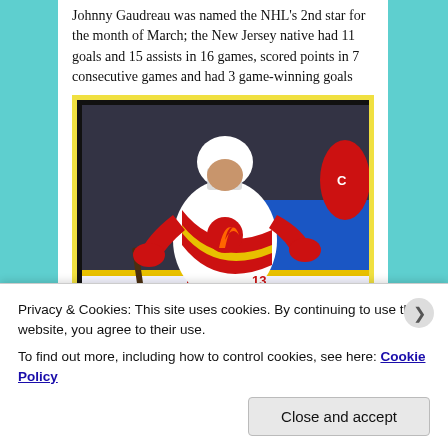Johnny Gaudreau was named the NHL's 2nd star for the month of March; the New Jersey native had 11 goals and 15 assists in 16 games, scored points in 7 consecutive games and had 3 game-winning goals
[Figure (photo): Johnny Gaudreau in Calgary Flames white jersey with red and yellow stripes, taking a shot on ice. Arena background with Ticketmaster signage visible.]
Privacy & Cookies: This site uses cookies. By continuing to use this website, you agree to their use. To find out more, including how to control cookies, see here: Cookie Policy
Close and accept